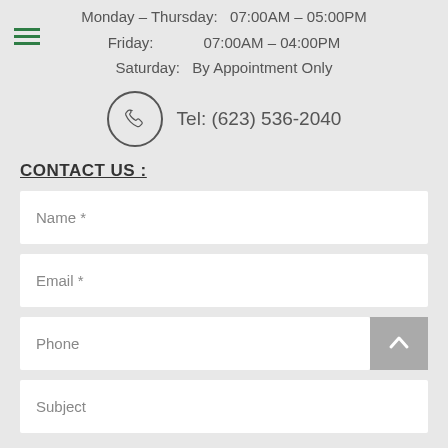Monday – Thursday:  07:00AM – 05:00PM
Friday:  07:00AM – 04:00PM
Saturday:  By Appointment Only
Tel: (623) 536-2040
CONTACT US :
Name *
Email *
Phone
Subject